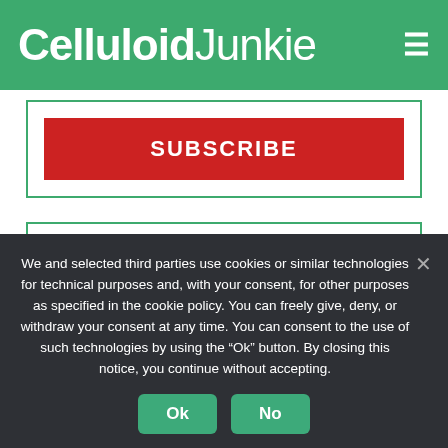Celluloid Junkie
SUBSCRIBE
SIGNUP FOR A FREE MEMBERSHIP
SIGNUP
We and selected third parties use cookies or similar technologies for technical purposes and, with your consent, for other purposes as specified in the cookie policy. You can freely give, deny, or withdraw your consent at any time. You can consent to the use of such technologies by using the “Ok” button. By closing this notice, you continue without accepting.